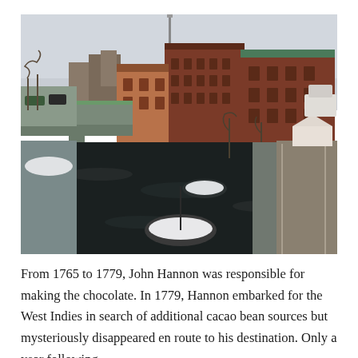[Figure (photo): Winter photograph of a dark river running through an urban area with snow-dusted banks and small snow-covered islands in the water. Red brick mill buildings are visible on the right side, and a bridge crosses the river on the left. Bare trees line the banks. Overcast sky.]
From 1765 to 1779, John Hannon was responsible for making the chocolate. In 1779, Hannon embarked for the West Indies in search of additional cacao bean sources but mysteriously disappeared en route to his destination. Only a year following